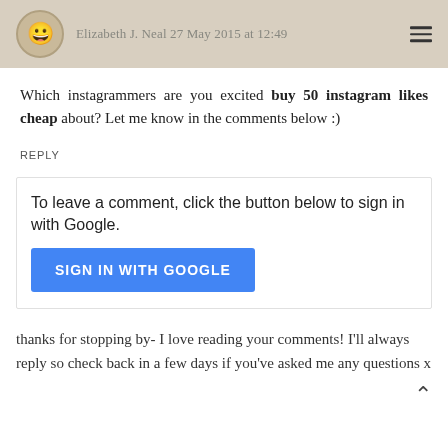Elizabeth J. Neal 27 May 2015 at 12:49
Which instagrammers are you excited buy 50 instagram likes cheap about? Let me know in the comments below :)
REPLY
To leave a comment, click the button below to sign in with Google.
[Figure (other): Blue 'SIGN IN WITH GOOGLE' button]
thanks for stopping by- I love reading your comments! I'll always reply so check back in a few days if you've asked me any questions x